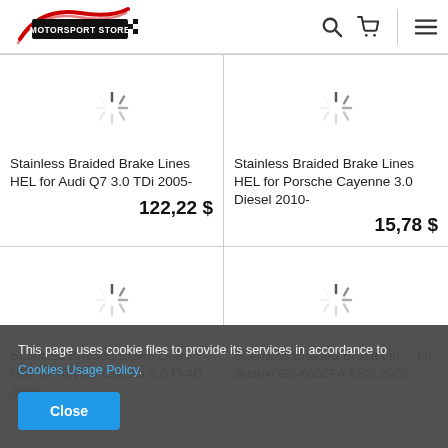MOTORSPORT STORE
Stainless Braided Brake Lines HEL for Audi Q7 3.0 TDi 2005-
122,22 $
Stainless Braided Brake Lines HEL for Porsche Cayenne 3.0 Diesel 2010-
15,78 $
Stainless Braided Brake Lines HEL for Toyota Corolla 2.0 D-4D 2000-
Stainless Braided Brake Lines for Suzuki GSX650FA ABS 2008-
This page uses cookie files to provide its services in accordance to Cookies Usage Policy.
Close